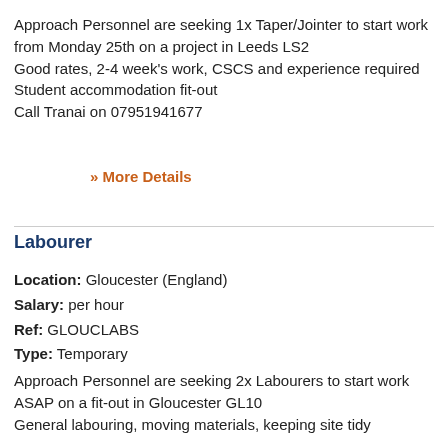Approach Personnel are seeking 1x Taper/Jointer to start work from Monday 25th on a project in Leeds LS2
Good rates, 2-4 week's work, CSCS and experience required
Student accommodation fit-out
Call Tranai on 07951941677
» More Details
Labourer
Location: Gloucester (England)
Salary: per hour
Ref: GLOUCLABS
Type: Temporary
Approach Personnel are seeking 2x Labourers to start work ASAP on a fit-out in Gloucester GL10
General labouring, moving materials, keeping site tidy